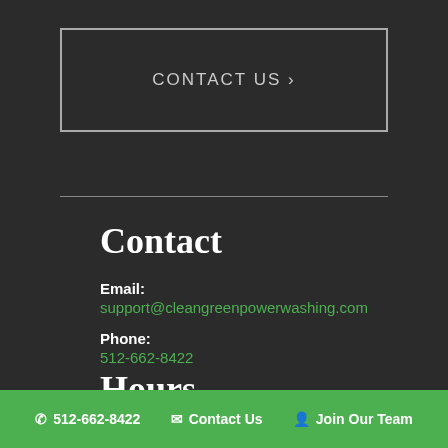CONTACT US >
Contact
Email:
support@cleangreenpowerwashing.com
Phone:
512-662-8422
Hours
Monday – Saturday: 8 am – 8 pm
512-662-8422   Contact Us   Join Our Team